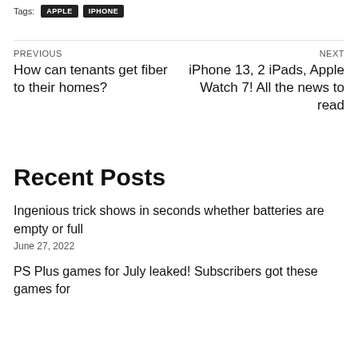Tags: APPLE IPHONE
PREVIOUS
How can tenants get fiber to their homes?
NEXT
iPhone 13, 2 iPads, Apple Watch 7! All the news to read
Recent Posts
Ingenious trick shows in seconds whether batteries are empty or full
June 27, 2022
PS Plus games for July leaked! Subscribers got these games for